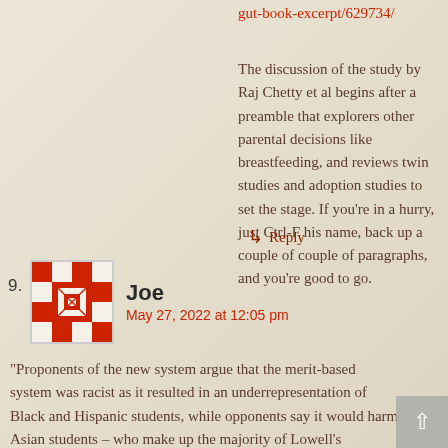gut-book-excerpt/629734/
The discussion of the study by Raj Chetty et al begins after a preamble that explorers other parental decisions like breastfeeding, and reviews twin studies and adoption studies to set the stage. If you're in a hurry, just Ctrl-F his name, back up a couple of paragraphs, and you're good to go.
↳ Reply
9.
Joe
May 27, 2022 at 12:05 pm
“Proponents of the new system argue that the merit-based system was racist as it resulted in an underrepresentation of Black and Hispanic students, while opponents say it would harm Asian students – who make up the majority of Lowell's